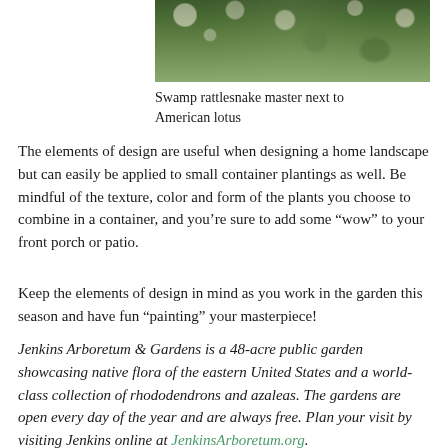[Figure (photo): Photo of swamp rattlesnake master plant next to American lotus, showing white fluffy flower heads against green foliage]
Swamp rattlesnake master next to American lotus
The elements of design are useful when designing a home landscape but can easily be applied to small container plantings as well. Be mindful of the texture, color and form of the plants you choose to combine in a container, and you’re sure to add some "wow" to your front porch or patio.
Keep the elements of design in mind as you work in the garden this season and have fun “painting” your masterpiece!
Jenkins Arboretum & Gardens is a 48-acre public garden showcasing native flora of the eastern United States and a world-class collection of rhododendrons and azaleas. The gardens are open every day of the year and are always free. Plan your visit by visiting Jenkins online at JenkinsArboretum.org.